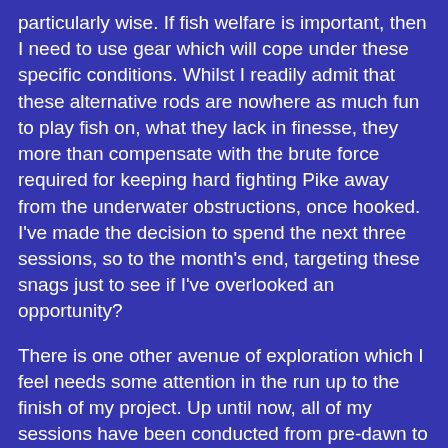particularly wise. If fish welfare is important, then I need to use gear which will cope under these specific conditions. Whilst I readily admit that these alternative rods are nowhere as much fun to play fish on, what they lack in finesse, they more than compensate with the brute force required for keeping hard fighting Pike away from the underwater obstructions, once hooked. I've made the decision to spend the next three sessions, so to the month's end, targeting these snags just to see if I've overlooked an opportunity?
There is one other avenue of exploration which I feel needs some attention in the run up to the finish of my project. Up until now, all of my sessions have been conducted from pre-dawn to mid-day (maximum) and a very successful approach it has proven to be. However, because of a chance conversation with a guy, whom I regularly see out on the bank, the possibility of a late afternoon, into darkness, feeding spell has come into my thinking. Obviously there is only one way to check out the hypothesis and I've already made plans for a session, next week. One session isn't ever going to be enough to make serious judgement upon the possibilities, but it will be a start. I well recall the "problem"